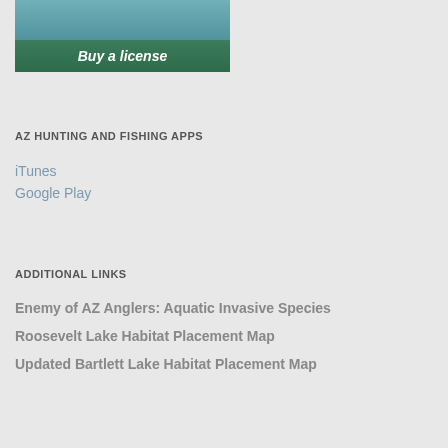[Figure (photo): Fish in water with 'Buy a license' text overlay on green background]
AZ HUNTING AND FISHING APPS
iTunes
Google Play
ADDITIONAL LINKS
Enemy of AZ Anglers: Aquatic Invasive Species
Roosevelt Lake Habitat Placement Map
Updated Bartlett Lake Habitat Placement Map